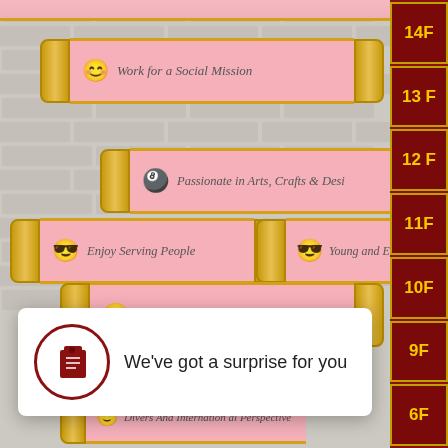[Figure (screenshot): App UI showing a brick-wall background with scroll-style banners listing traits: 'Work for a Social Mission', 'Passionate in Arts, Crafts & Design', 'Enjoy Serving People', 'Young and Energetic', 'Rich in Cross Cultural Experiences'. Right sidebar shows floor labels 14F, 13F, 12F, 11F, 10F, 9F, 6F.]
We've got a surprise for you